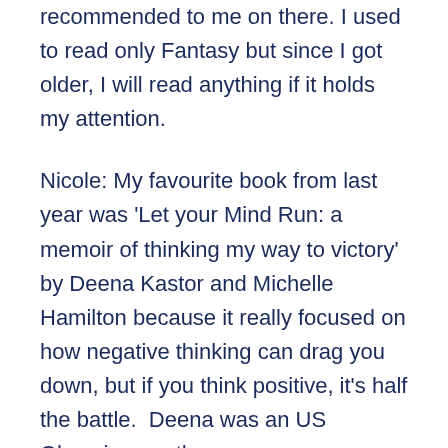recommended to me on there. I used to read only Fantasy but since I got older, I will read anything if it holds my attention.
Nicole: My favourite book from last year was 'Let your Mind Run: a memoir of thinking my way to victory' by Deena Kastor and Michelle Hamilton because it really focused on how negative thinking can drag you down, but if you think positive, it's half the battle.  Deena was an US Olympic marathon runner.
Rhona: Taste by Stanley Tucci – he writes exactly how he speaks, the similarities between Italian American and Irish families are uncanny, gorgeous funny man and Italian recipes to boot – what's not to love!